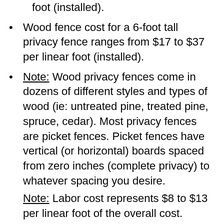foot (installed).
Wood fence cost for a 6-foot tall privacy fence ranges from $17 to $37 per linear foot (installed).
Note: Wood privacy fences come in dozens of different styles and types of wood (ie: untreated pine, treated pine, spruce, cedar). Most privacy fences are picket fences. Picket fences have vertical (or horizontal) boards spaced from zero inches (complete privacy) to whatever spacing you desire.
Note: Labor cost represents $8 to $13 per linear foot of the overall cost.
Note: These prices do not include redwood or tropical woods. These